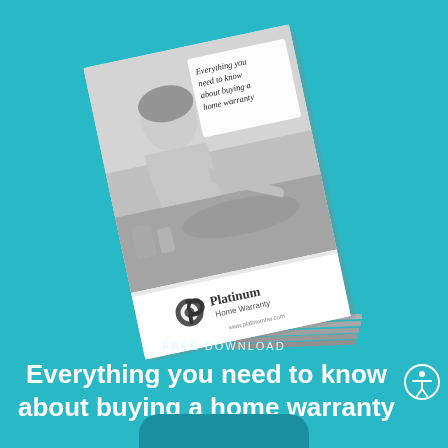[Figure (illustration): A tilted booklet/magazine cover showing a black-and-white photo of a person doing dishes at a kitchen sink, with text overlay reading 'Everything you need to know about buying a home warranty', and the Platinum Home Warranty logo at the bottom of the cover. The booklet has multiple pages visible at the spine.]
FREE DOWNLOAD
Everything you need to know about buying a home warranty